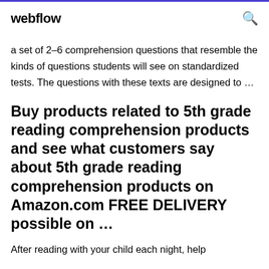webflow
a set of 2–6 comprehension questions that resemble the kinds of questions students will see on standardized tests. The questions with these texts are designed to …
Buy products related to 5th grade reading comprehension products and see what customers say about 5th grade reading comprehension products on Amazon.com FREE DELIVERY possible on …
After reading with your child each night, help